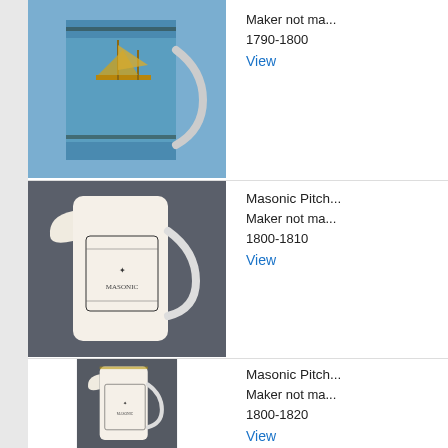[Figure (photo): Blue ceramic mug with sailing ship decoration, white handle, decorative border top and bottom]
Maker not ma...
1790-1800
View
[Figure (photo): White ceramic pitcher/jug with Masonic emblem decoration in black transfer print, on grey background]
Masonic Pitch...
Maker not ma...
1800-1810
View
[Figure (photo): White ceramic pitcher/jug with Masonic emblem decoration in black transfer print, on dark grey background]
Masonic Pitch...
Maker not ma...
1800-1820
View
[Figure (photo): Partial view of another dark ceramic pitcher at bottom of page]
Masonic Pitch...